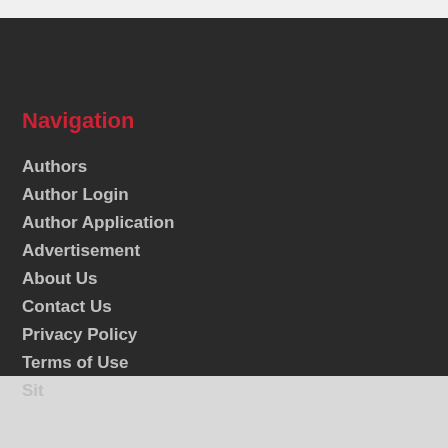Navigation
Authors
Author Login
Author Application
Advertisement
About Us
Contact Us
Privacy Policy
Terms of Use
Sit...